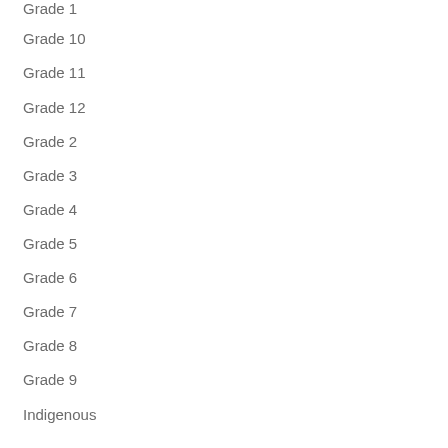Grade 1
Grade 10
Grade 11
Grade 12
Grade 2
Grade 3
Grade 4
Grade 5
Grade 6
Grade 7
Grade 8
Grade 9
Indigenous